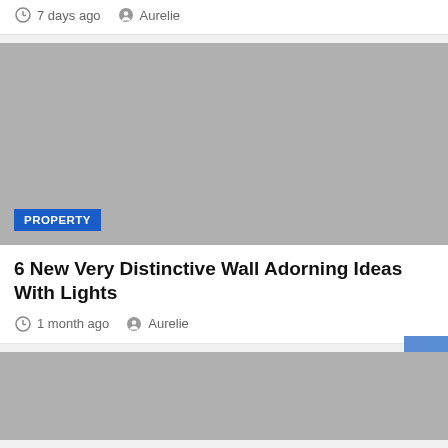7 days ago  Aurelie
[Figure (photo): Gray placeholder image with PROPERTY badge]
6 New Very Distinctive Wall Adorning Ideas With Lights
1 month ago  Aurelie
[Figure (photo): Gray placeholder image at bottom, partially visible]